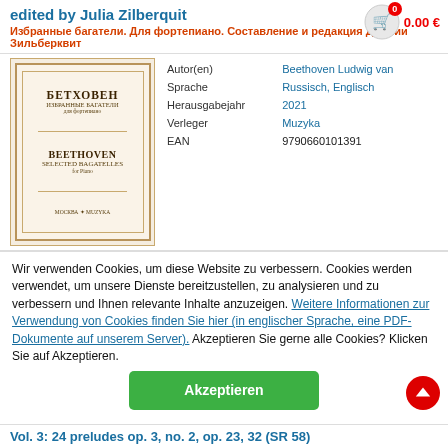edited by Julia Zilberquit
Избранные багатели. Для фортепиано. Составление и редакция Джулии Зильберквит
[Figure (photo): Book cover of Beethoven Selected Bagatelles / Бетховен Избранные Багатели for piano, published by Muzyka]
|  |  |
| --- | --- |
| Autor(en) | Beethoven Ludwig van |
| Sprache | Russisch, Englisch |
| Herausgabejahr | 2021 |
| Verleger | Muzyka |
| EAN | 9790660101391 |
Wir verwenden Cookies, um diese Website zu verbessern. Cookies werden verwendet, um unsere Dienste bereitzustellen, zu analysieren und zu verbessern und Ihnen relevante Inhalte anzuzeigen. Weitere Informationen zur Verwendung von Cookies finden Sie hier (in englischer Sprache, eine PDF-Dokumente auf unserem Server). Akzeptieren Sie gerne alle Cookies? Klicken Sie auf Akzeptieren.
Akzeptieren
Vol. 3: 24 preludes op. 3, no. 2, op. 23, 32 (SR 58)